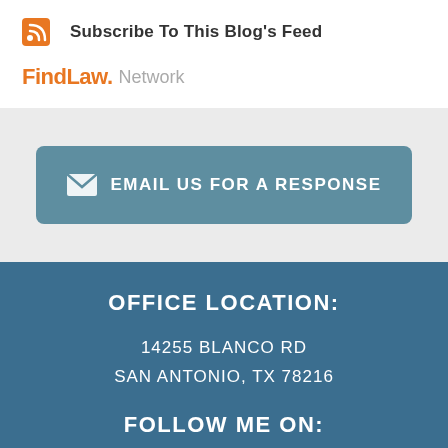Subscribe To This Blog's Feed
[Figure (logo): FindLaw Network logo with orange FindLaw text and gray Network text]
EMAIL US FOR A RESPONSE
OFFICE LOCATION:
14255 BLANCO RD
SAN ANTONIO, TX 78216
FOLLOW ME ON:
[Figure (logo): Facebook logo — dark circle with white letter f]